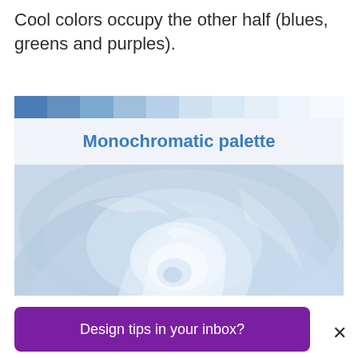Cool colors occupy the other half (blues, greens and purples).
[Figure (illustration): A monochromatic color palette header with a strip of blue shades at the top, a label area reading 'Monochromatic palette', and a close-up photo of a blue rose below.]
Design tips in your inbox?